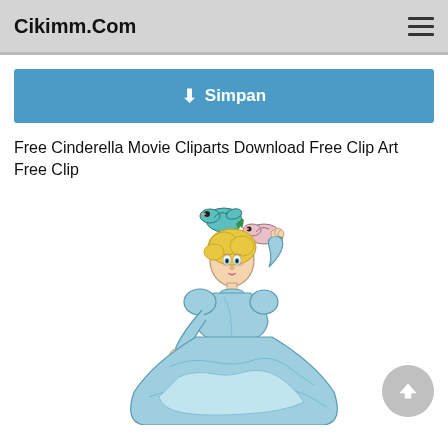Cikimm.Com
Simpan
Free Cinderella Movie Cliparts Download Free Clip Art Free Clip
[Figure (illustration): Illustration of Disney's Cinderella in a light blue dress, holding up one hand with two small birds perched on her fingers, her other hand extended outward. She has blonde hair and is wearing long blue gloves.]